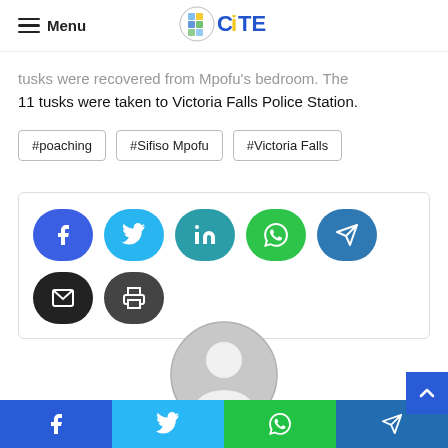Menu | CITE
tusks were recovered from Mpofu's bedroom. The 11 tusks were taken to Victoria Falls Police Station.
#poaching
#Sifiso Mpofu
#Victoria Falls
[Figure (infographic): Social share buttons: Facebook, Twitter, LinkedIn, WhatsApp, Telegram, Email, Print]
[Figure (illustration): Circular grey avatar/user profile icon]
Facebook | Twitter | WhatsApp | Telegram share buttons